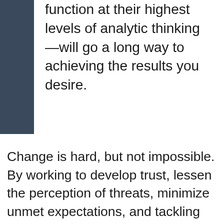function at their highest levels of analytic thinking—will go a long way to achieving the results you desire.
Change is hard, but not impossible. By working to develop trust, lessen the perception of threats, minimize unmet expectations, and tackling changing one routine at a time, you can help your clients and